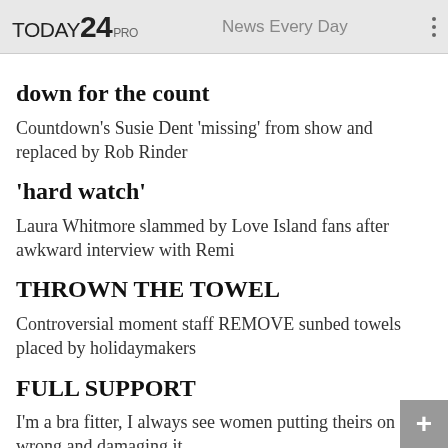TODAY 24 PRO — News Every Day
down for the count
Countdown's Susie Dent 'missing' from show and replaced by Rob Rinder
'hard watch'
Laura Whitmore slammed by Love Island fans after awkward interview with Remi
THROWN THE TOWEL
Controversial moment staff REMOVE sunbed towels placed by holidaymakers
FULL SUPPORT
I'm a bra fitter, I always see women putting theirs on wrong and damaging it